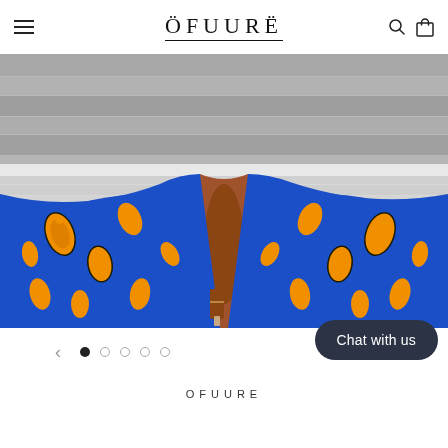ÖFUURË
[Figure (photo): Woman wearing a vibrant blue and orange African print maxi skirt with a slit, standing on a grey wood floor with a grey wood plank wall background. The lower half of the body is shown including legs and heeled sandals.]
Chat with us
OFUURE